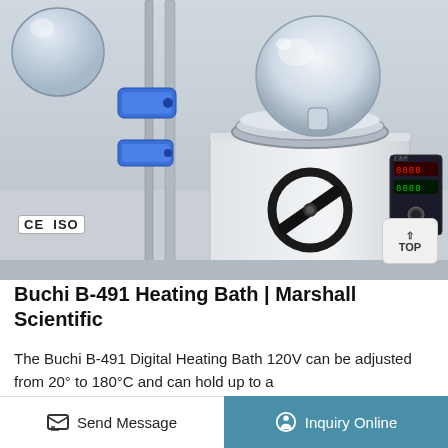[Figure (photo): Photo of a Buchi B-491 Digital Heating Bath laboratory instrument — a white metal box with a circular stainless steel bath opening on top holding a large round glass flask. On the left side is a lab stand/rod with blue plastic clamp connectors. On the front panel is a large black circular handle/knob. On the right side is a digital temperature controller with red LED display. CE and ISO certification logos appear at bottom left. A 'TOP' navigation button appears at bottom right.]
Buchi B-491 Heating Bath | Marshall Scientific
The Buchi B-491 Digital Heating Bath 120V can be adjusted from 20° to 180°C and can hold up to a
Send Message   Inquiry Online